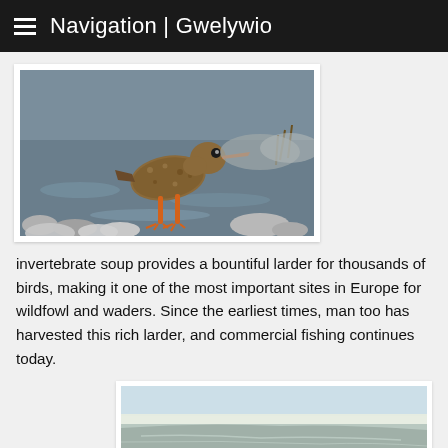Navigation | Gwelywio
[Figure (photo): A redshank wading bird standing on rocky shoreline with water and stones in background, featuring orange-red legs and bill]
invertebrate soup provides a bountiful larder for thousands of birds, making it one of the most important sites in Europe for wildfowl and waders. Since the earliest times, man too has harvested this rich larder, and commercial fishing continues today.
[Figure (photo): Landscape photo showing a coastal or estuary scene with pale sky and water]